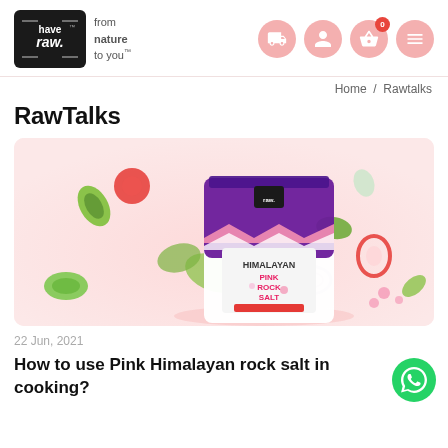have raw. from nature to you™
Home / Rawtalks
RawTalks
[Figure (photo): Product photo of Have Raw Himalayan Pink Rock Salt bag surrounded by fresh vegetables (cucumber, tomato slices, lettuce, onion rings, bell pepper) on a light pink background]
22 Jun, 2021
How to use Pink Himalayan rock salt in cooking?